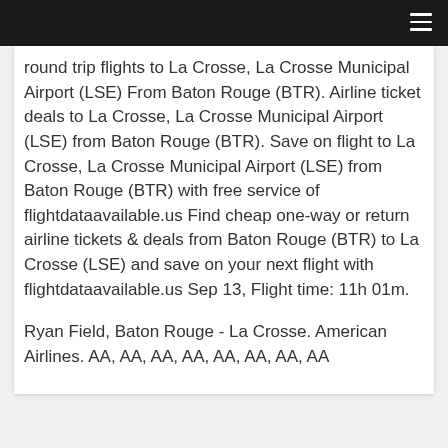round trip flights to La Crosse, La Crosse Municipal Airport (LSE) From Baton Rouge (BTR). Airline ticket deals to La Crosse, La Crosse Municipal Airport (LSE) from Baton Rouge (BTR). Save on flight to La Crosse, La Crosse Municipal Airport (LSE) from Baton Rouge (BTR) with free service of flightdataavailable.us Find cheap one-way or return airline tickets & deals from Baton Rouge (BTR) to La Crosse (LSE) and save on your next flight with flightdataavailable.us Sep 13, Flight time: 11h 01m.
Ryan Field, Baton Rouge - La Crosse. American Airlines. AA, AA, AA, AA, AA, AA, AA, AA